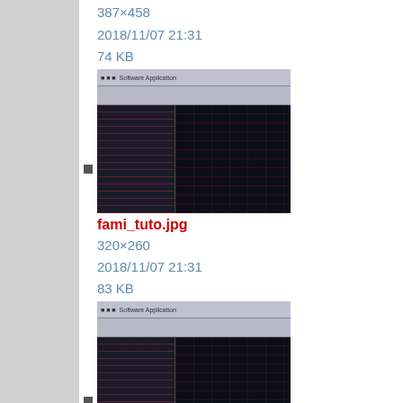387×458
2018/11/07 21:31
74 KB
fami_tuto.jpg
320×260
2018/11/07 21:31
83 KB
fami_tuto.png
751×610
2018/11/07 21:31
40 KB
[Figure (screenshot): Screenshot of a software interface (fami_tuto.jpg thumbnail)]
[Figure (screenshot): Screenshot of a software interface (fami_tuto.png thumbnail)]
[Figure (photo): Photo of electronic/hardware device at bottom of page]